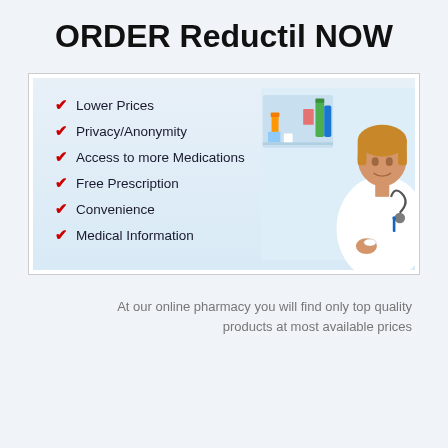ORDER Reductil NOW
[Figure (infographic): Pharmacy advertisement banner with light blue background showing a female doctor/pharmacist in white coat with stethoscope on the right side, and a checklist on the left with items: Lower Prices, Privacy/Anonymity, Access to more Medications, Free Prescription, Convenience, Medical Information. Red checkmarks precede each item.]
At our online pharmacy you will find only top quality products at most available prices